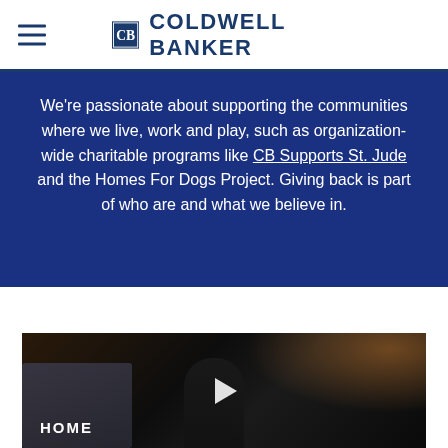COLDWELL BANKER
We're passionate about supporting the communities where we live, work and play, such as organization-wide charitable programs like CB Supports St. Jude and the Homes For Dogs Project. Giving back is part of who are and what we believe in.
[Figure (screenshot): A dark video thumbnail showing a person in a dimly lit room with warm background lighting. A white play button triangle is visible in the center. The text 'HOME' appears in white at the lower left of the video.]